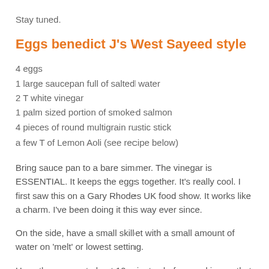Stay tuned.
Eggs benedict J's West Sayeed style
4 eggs
1 large saucepan full of salted water
2 T white vinegar
1 palm sized portion of smoked salmon
4 pieces of round multigrain rustic stick
a few T of Lemon Aoli (see recipe below)
Bring sauce pan to a bare simmer. The vinegar is ESSENTIAL. It keeps the eggs together. It's really cool. I first saw this on a Gary Rhodes UK food show. It works like a charm. I've been doing it this way ever since.
On the side, have a small skillet with a small amount of water on 'melt' or lowest setting.
Have the eggs out about 10 minutes before cooking so that they don't cool the water down when you add them. Always